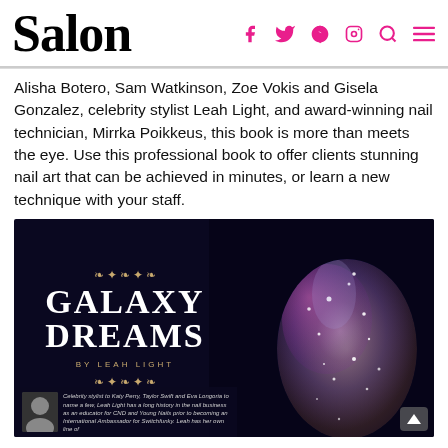Salon — navigation icons: f (Facebook), Twitter, Pinterest, Instagram, Search, Menu
Alisha Botero, Sam Watkinson, Zoe Vokis and Gisela Gonzalez, celebrity stylist Leah Light, and award-winning nail technician, Mirrka Poikkeus, this book is more than meets the eye. Use this professional book to offer clients stunning nail art that can be achieved in minutes, or learn a new technique with your staff.
[Figure (photo): Galaxy Dreams nail art book page featuring large decorative title 'GALAXY DREAMS BY LEAH LIGHT' with ornamental flourishes on a dark background, alongside a close-up of a nail with galaxy-inspired art (deep blue, purple, pink glitter). Author bio with small portrait photo and italic text about Leah Light being a celebrity stylist to Katy Perry, Taylor Swift and Eva Longoria, educator for CND and Young Nails, International Ambassador for Switchfunky.]